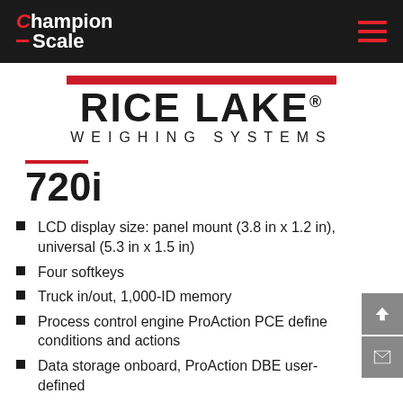Champion Scale | Rice Lake Weighing Systems
[Figure (logo): Rice Lake Weighing Systems logo with red bar above bold text and 'WEIGHING SYSTEMS' subtitle]
720i
LCD display size: panel mount (3.8 in x 1.2 in), universal (5.3 in x 1.5 in)
Four softkeys
Truck in/out, 1,000-ID memory
Process control engine ProAction PCE define conditions and actions
Data storage onboard, ProAction DBE user-defined
Eight digital I/O (expandable)